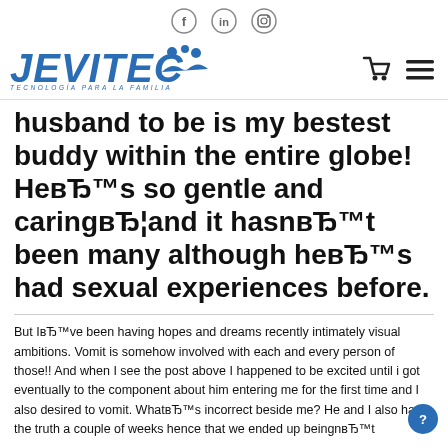[Figure (logo): Social media icons: Facebook, LinkedIn, Instagram in circular outlines]
[Figure (logo): JEVITEC logo with blue italic bold text and tagline TECNOLOGÍA PARA LA FAMILIA, plus a shopping cart icon and hamburger menu icon on the right]
husband to be is my bestest buddy within the entire globe! HeвЂ™s so gentle and caringвЂ¦and it hasnвЂ™t been many although heвЂ™s had sexual experiences before.
But IвЂ™ve been having hopes and dreams recently intimately visual ambitions. Vomit is somehow involved with each and every person of those!! And when I see the post above I happened to be excited until i got eventually to the component about him entering me for the first time and I also desired to vomit. WhatвЂ™s incorrect beside me? He and I also had the truth a couple of weeks hence that we ended up beingnвЂ™t